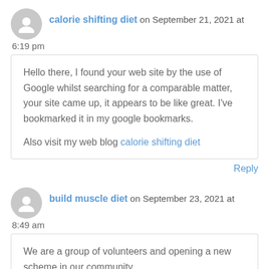calorie shifting diet on September 21, 2021 at 6:19 pm
Hello there, I found your web site by the use of Google whilst searching for a comparable matter, your site came up, it appears to be like great. I've bookmarked it in my google bookmarks.

Also visit my web blog calorie shifting diet
Reply
build muscle diet on September 23, 2021 at 8:49 am
We are a group of volunteers and opening a new scheme in our community.

Your website provided us with valuable information to